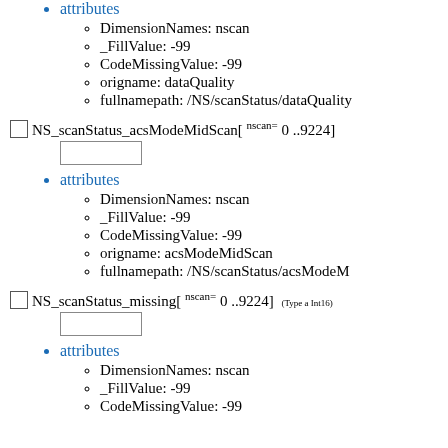attributes
DimensionNames: nscan
_FillValue: -99
CodeMissingValue: -99
origname: dataQuality
fullnamepath: /NS/scanStatus/dataQuality
NS_scanStatus_acsModeMidScan[ nscan= 0 ..9224]
attributes
DimensionNames: nscan
_FillValue: -99
CodeMissingValue: -99
origname: acsModeMidScan
fullnamepath: /NS/scanStatus/acsModeM
NS_scanStatus_missing[ nscan= 0 ..9224] (Type a Int16)
attributes
DimensionNames: nscan
_FillValue: -99
CodeMissingValue: -99